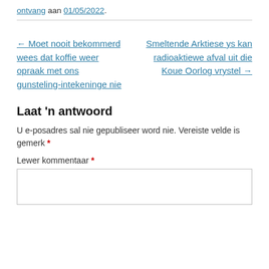ontvang aan 01/05/2022.
← Moet nooit bekommerd wees dat koffie weer opraak met ons gunsteling-intekeninge nie
Smeltende Arktiese ys kan radioaktiewe afval uit die Koue Oorlog vrystel →
Laat 'n antwoord
U e-posadres sal nie gepubliseer word nie. Vereiste velde is gemerk *
Lewer kommentaar *